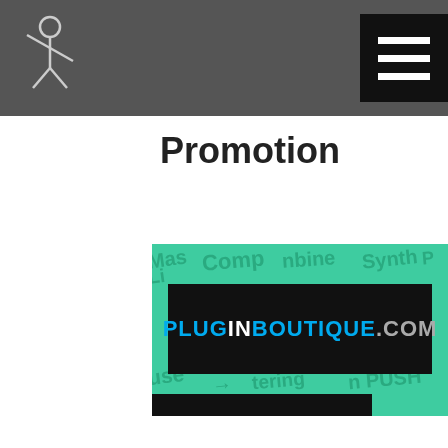Header bar with logo and navigation menu
Promotion
[Figure (logo): Plugin Boutique .com logo banner on green background with music-related words (Mastering, Comp, Combine, Synth, Live, House, Push) repeated in background]